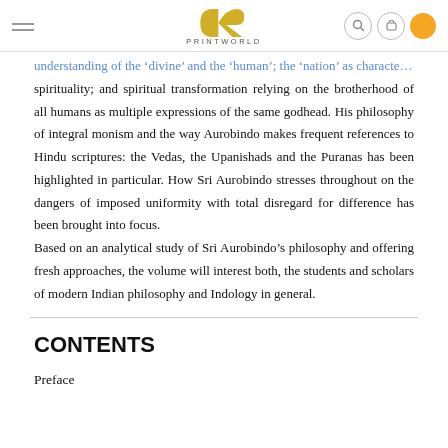PRINTWORLD
understanding of the ‘divine’ and the ‘human’; the ‘nation’ as characterized by spirituality; and spiritual transformation relying on the brotherhood of all humans as multiple expressions of the same godhead. His philosophy of integral monism and the way Aurobindo makes frequent references to Hindu scriptures: the Vedas, the Upanishads and the Puranas has been highlighted in particular. How Sri Aurobindo stresses throughout on the dangers of imposed uniformity with total disregard for difference has been brought into focus. Based on an analytical study of Sri Aurobindo’s philosophy and offering fresh approaches, the volume will interest both, the students and scholars of modern Indian philosophy and Indology in general.
CONTENTS
Preface